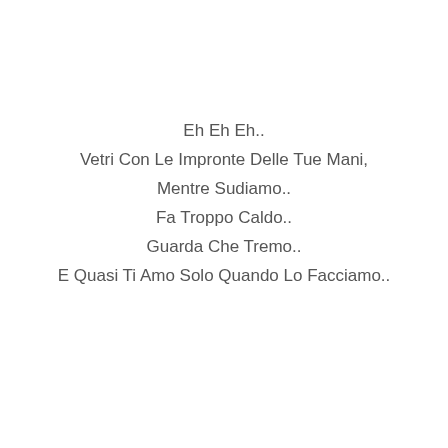Eh Eh Eh..
Vetri Con Le Impronte Delle Tue Mani,
Mentre Sudiamo..
Fa Troppo Caldo..
Guarda Che Tremo..
E Quasi Ti Amo Solo Quando Lo Facciamo..